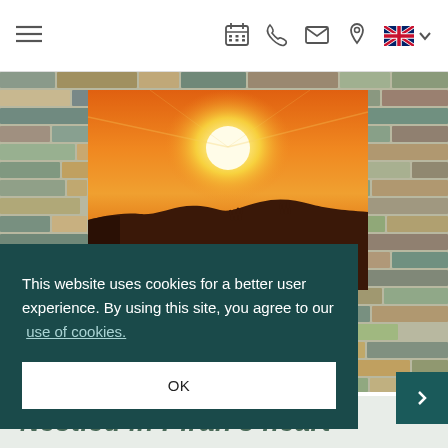Navigation bar with hamburger menu, calendar, phone, mail, location, UK flag and language selector icons
[Figure (photo): Hotel interior photo showing a stone wall with horizontal multicolored stone tiles, and a large canvas print of an orange/golden sunset over water with silhouetted landscape]
This website uses cookies for a better user experience. By using this site, you agree to our use of cookies.
OK
Nestled in Piran's heart